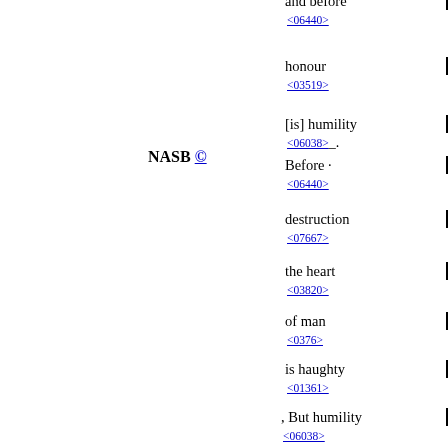and before <06440>
honour <03519>
[is] humility <06038>_.
NASB ©
Before · <06440>
destruction <07667>
the heart <03820>
of man <0376>
is haughty <01361>
, But humility <06038>
goes before <06440>
honor